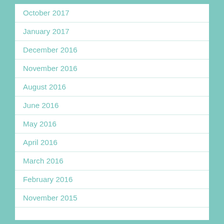October 2017
January 2017
December 2016
November 2016
August 2016
June 2016
May 2016
April 2016
March 2016
February 2016
November 2015